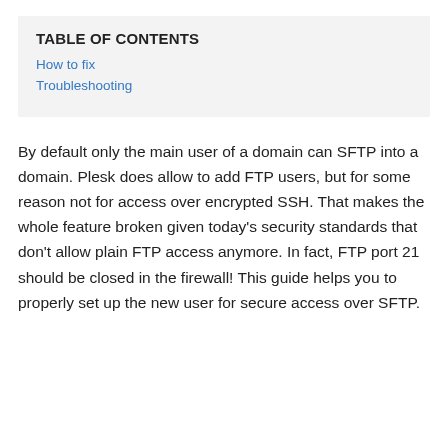TABLE OF CONTENTS
How to fix
Troubleshooting
By default only the main user of a domain can SFTP into a domain. Plesk does allow to add FTP users, but for some reason not for access over encrypted SSH. That makes the whole feature broken given today's security standards that don't allow plain FTP access anymore. In fact, FTP port 21 should be closed in the firewall! This guide helps you to properly set up the new user for secure access over SFTP.